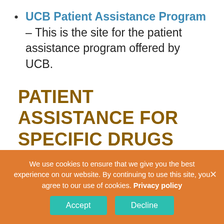UCB Patient Assistance Program – This is the site for the patient assistance program offered by UCB.
PATIENT ASSISTANCE FOR SPECIFIC DRUGS
Sinemet/Sinemet CR/Parcopa (from RX Outreach)
We use cookies to ensure that we give you the best experience on our website. By continuing to use this site, you agree to our use of cookies. Privacy policy
Accept  Decline